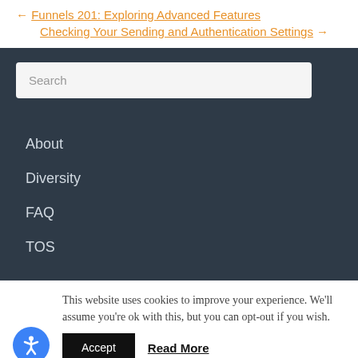← Funnels 201: Exploring Advanced Features
Checking Your Sending and Authentication Settings →
Search
About
Diversity
FAQ
TOS
This website uses cookies to improve your experience. We'll assume you're ok with this, but you can opt-out if you wish.
Accept
Read More